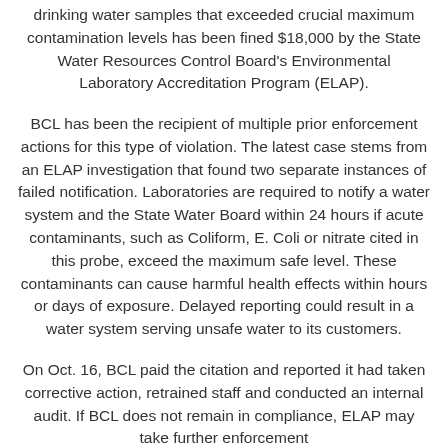drinking water samples that exceeded crucial maximum contamination levels has been fined $18,000 by the State Water Resources Control Board's Environmental Laboratory Accreditation Program (ELAP).
BCL has been the recipient of multiple prior enforcement actions for this type of violation. The latest case stems from an ELAP investigation that found two separate instances of failed notification. Laboratories are required to notify a water system and the State Water Board within 24 hours if acute contaminants, such as Coliform, E. Coli or nitrate cited in this probe, exceed the maximum safe level. These contaminants can cause harmful health effects within hours or days of exposure. Delayed reporting could result in a water system serving unsafe water to its customers.
On Oct. 16, BCL paid the citation and reported it had taken corrective action, retrained staff and conducted an internal audit. If BCL does not remain in compliance, ELAP may take further enforcement